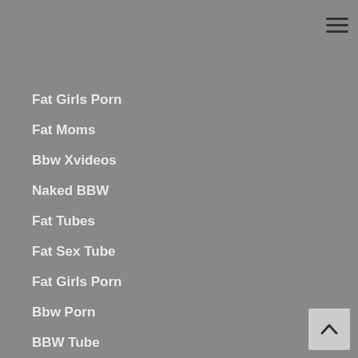[Figure (screenshot): Hamburger menu icon (three horizontal lines) in the top right corner]
[Figure (screenshot): Search bar with placeholder text 'Search...' and a search icon]
Fat Girls Porn
Fat Moms
Bbw Xvideos
Naked BBW
Fat Tubes
Fat Sex Tube
Fat Girls Porn
Bbw Porn
BBW Tube
wife BBW
Only Fat Pussy
Bbw xnxx
BBW Mature